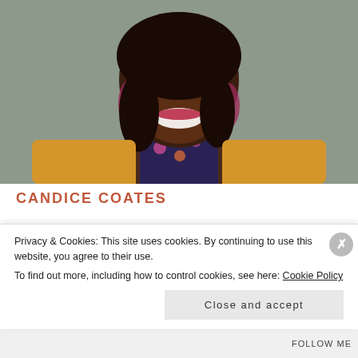[Figure (photo): Portrait photo of Candice Coates, a smiling Black woman wearing a yellow cardigan, floral top, and large pink tassel earrings, standing in front of a gray brick wall.]
CANDICE COATES
Podcast Host and Conversationalist of "These Read Letters", Candice
Privacy & Cookies: This site uses cookies. By continuing to use this website, you agree to their use.
To find out more, including how to control cookies, see here: Cookie Policy
Close and accept